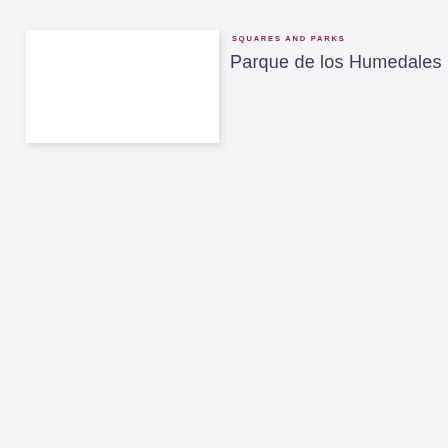[Figure (photo): A white rectangular image placeholder with drop shadow on a light grey background]
SQUARES AND PARKS
Parque de los Humedales